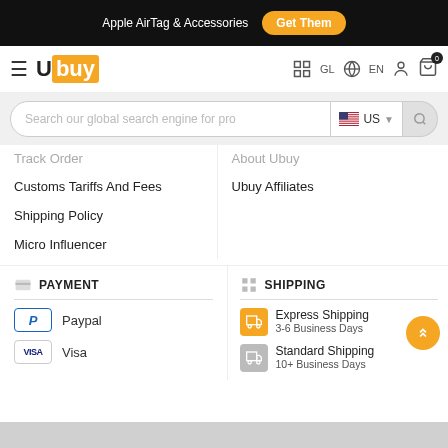Apple AirTag & Accessories  Get Them
[Figure (logo): Ubuy logo with hamburger menu, GL globe EN language, user icon, and cart with 0 badge]
[Figure (screenshot): Search bar: 'Search our global search engine for pro' with US flag and country selector, search button]
Track Order
About Ubuy
Customs Tariffs And Fees
Ubuy Affiliates
Shipping Policy
Micro Influencer
PAYMENT
SHIPPING
Paypal
Express Shipping
3-6 Business Days
Visa
Standard Shipping
10+ Business Days